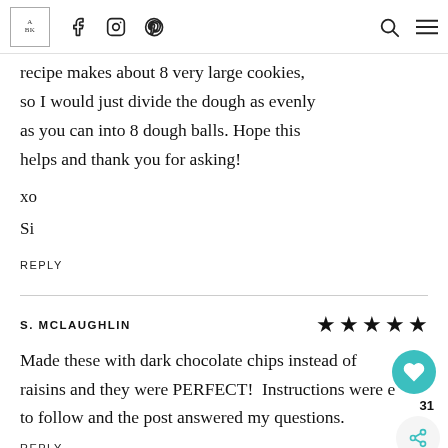Navigation bar with logo, social icons (Facebook, Instagram, Pinterest), search and menu icons
recipe makes about 8 very large cookies, so I would just divide the dough as evenly as you can into 8 dough balls. Hope this helps and thank you for asking!
xo
Si
REPLY
S. MCLAUGHLIN  ★★★★★
Made these with dark chocolate chips instead of raisins and they were PERFECT! Instructions were easy to follow and the post answered my questions.
REPLY